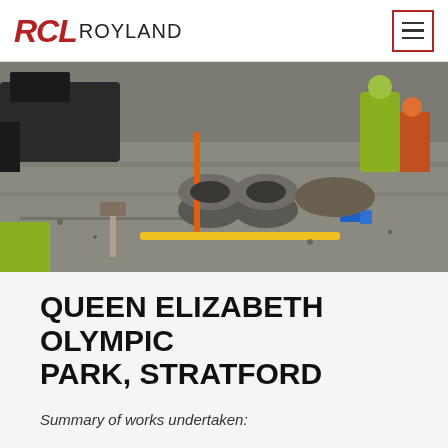RCL ROYLAND
[Figure (photo): Construction site photo showing workers in high-visibility vests and hard hats at Queen Elizabeth Olympic Park, with large concrete pipes, excavation equipment, and gravel ground.]
QUEEN ELIZABETH OLYMPIC PARK, STRATFORD
Summary of works undertaken:
Infrastructure works to exsisting Olympic Park site to form contemporary neighbourhood from 1300 or above period including